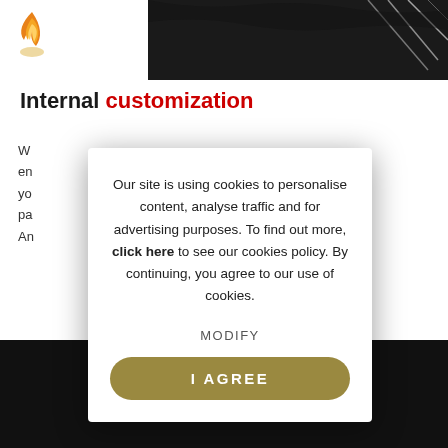[Figure (logo): Orange flame/torch logo top-left corner]
[Figure (illustration): Dark black brush stroke texture spanning top-right portion of page]
Internal customization
W... en... yo... pa... An...
Our site is using cookies to personalise content, analyse traffic and for advertising purposes. To find out more, click here to see our cookies policy. By continuing, you agree to our use of cookies.
MODIFY
I AGREE